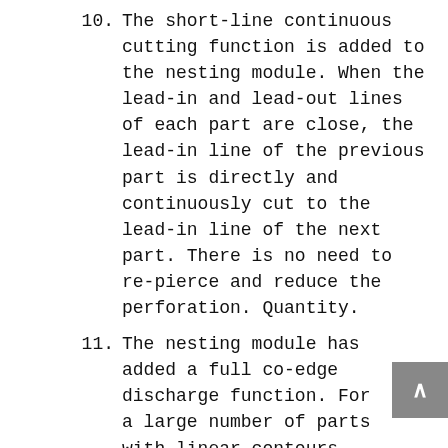10. The short-line continuous cutting function is added to the nesting module. When the lead-in and lead-out lines of each part are close, the lead-in line of the previous part is directly and continuously cut to the lead-in line of the next part. There is no need to re-pierce and reduce the perforation. Quantity.
11. The nesting module has added a full co-edge discharge function. For a large number of parts with linear contours, the nesting is performed directly according to the slit width when nesting, and the common edge is only cut once, which greatly reduces the number of perforations and Cutting length.